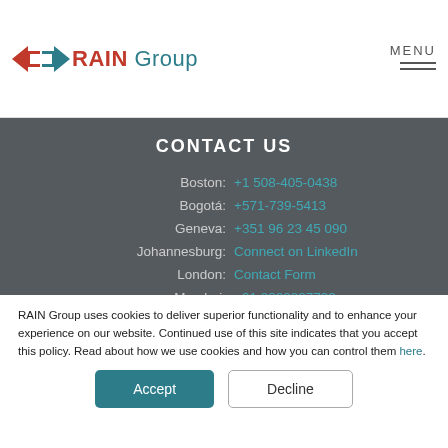[Figure (logo): RAIN Group logo with red and teal arrow shapes and company name]
CONTACT US
Boston: +1 508-405-0438
Bogotá: +571-739-5413
Geneva: +351 96 23 45 090
Johannesburg: Connect on LinkedIn
London: Contact Form
Mumbai: +91 8882887733
Mexico City: +52-55-1084-4100-04
RAIN Group uses cookies to deliver superior functionality and to enhance your experience on our website. Continued use of this site indicates that you accept this policy. Read about how we use cookies and how you can control them here.